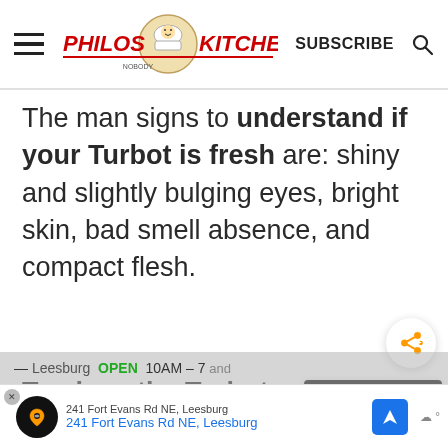Philos Kitchen — SUBSCRIBE
The man signs to understand if your Turbot is fresh are: shiny and slightly bulging eyes, bright skin, bad smell absence, and compact flesh.
To clean the Turbot, place it
[Figure (screenshot): WHAT'S NEXT → HOMEMADE SUN-DRIED... promotional widget]
[Figure (screenshot): Advertisement bar: Leesburg OPEN 10AM–7PM, 241 Fort Evans Rd NE, Leesburg]